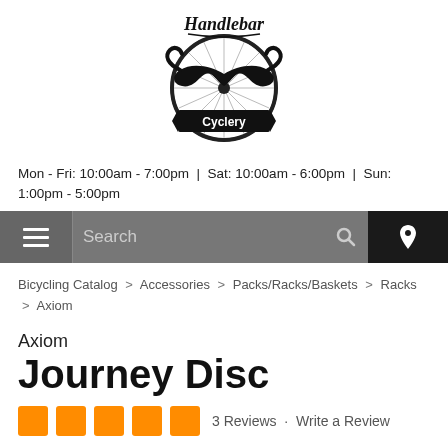[Figure (logo): Handlebar Cyclery logo — mustache over a bicycle wheel with 'Handlebar' in script above and 'Cyclery' on a banner below]
Mon - Fri: 10:00am - 7:00pm  |  Sat: 10:00am - 6:00pm  |  Sun: 1:00pm - 5:00pm
Search
Bicycling Catalog > Accessories > Packs/Racks/Baskets > Racks > Axiom
Axiom
Journey Disc
3 Reviews  ·  Write a Review